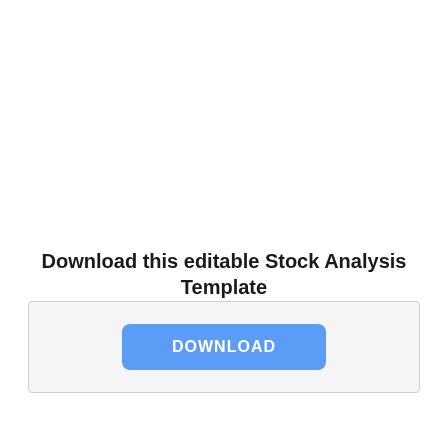Download this editable Stock Analysis Template
[Figure (other): Download button with label DOWNLOAD inside a light gray bordered box]